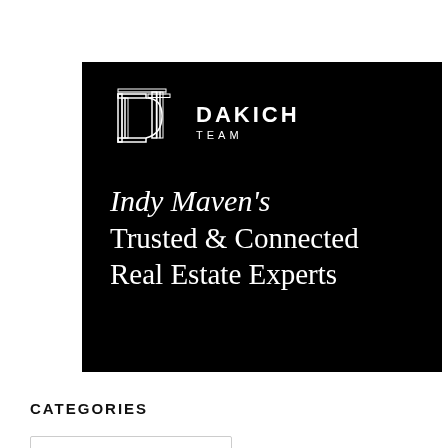[Figure (logo): Dakich Team advertisement on black background. Shows the Dakich Team logo (stylized D and T letters with triple-line geometric design) and text: Indy Maven's Trusted & Connected Real Estate Experts]
CATEGORIES